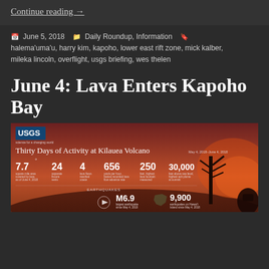Continue reading →
June 5, 2018   Daily Roundup, Information   halema'uma'u, harry kim, kapoho, lower east rift zone, mick kalber, mileka lincoln, overflight, usgs briefing, wes thelen
June 4: Lava Enters Kapoho Bay
[Figure (infographic): USGS infographic: Thirty Days of Activity at Kīlauea Volcano May 4, 2018–June 4, 2018. Statistics: 7.7 square mile area covered by lava as of June 4, 2018; 24 separate fissure vents; 4 lava flows reached ocean; 656 yards per hour fastest recorded lava flow advance rate; 250 feet highest lava fountain measured; 30,000 feet above sea level highest ash plume at summit. Earthquakes: M6.9 largest earthquake since May 4, 2018; 9,900 earthquakes on Hawaii Island since May 4, 2018.]